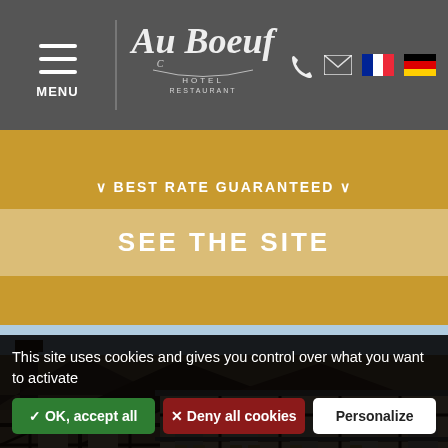MENU | Au Boeuf Hotel Restaurant | Phone | Email | French | German
✓ BEST RATE GUARANTEED ✓
SEE THE SITE
[Figure (photo): Street view of traditional Alsatian half-timbered buildings with rooftops and shutters]
This site uses cookies and gives you control over what you want to activate
✓ OK, accept all
✗ Deny all cookies
Personalize